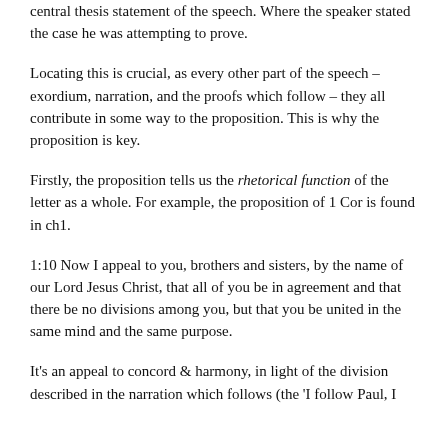central thesis statement of the speech. Where the speaker stated the case he was attempting to prove.
Locating this is crucial, as every other part of the speech – exordium, narration, and the proofs which follow – they all contribute in some way to the proposition. This is why the proposition is key.
Firstly, the proposition tells us the rhetorical function of the letter as a whole. For example, the proposition of 1 Cor is found in ch1.
1:10 Now I appeal to you, brothers and sisters, by the name of our Lord Jesus Christ, that all of you be in agreement and that there be no divisions among you, but that you be united in the same mind and the same purpose.
It's an appeal to concord & harmony, in light of the division described in the narration which follows (the 'I follow Paul, I